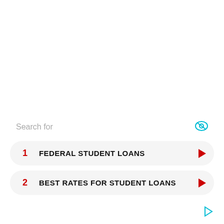Search for
1  FEDERAL STUDENT LOANS
2  BEST RATES FOR STUDENT LOANS